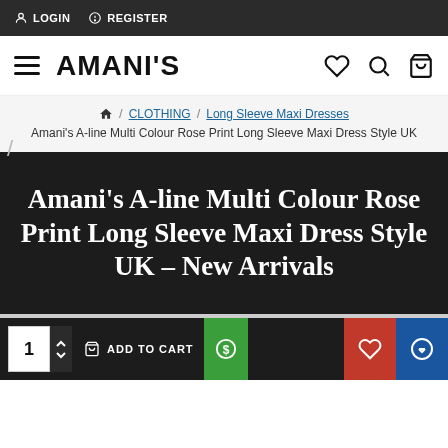LOGIN  REGISTER
AMANI'S
Home / CLOTHING / Long Sleeve Maxi Dresses / Amani's A-line Multi Colour Rose Print Long Sleeve Maxi Dress Style UK
Amani's A-line Multi Colour Rose Print Long Sleeve Maxi Dress Style UK - New Arrivals
1  ADD TO CART